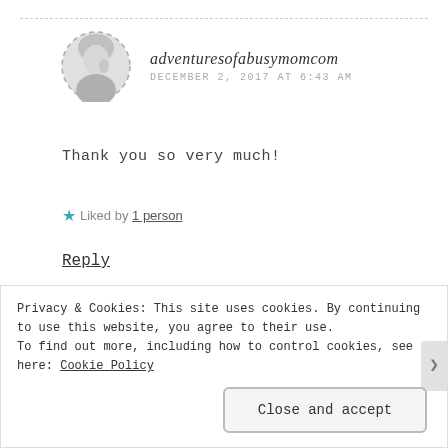[Figure (photo): Circular avatar photo of a woman with dashed border, black and white]
adventuresofabusymomcom
DECEMBER 2, 2017 AT 6:43 AM
Thank you so very much!
★ Liked by 1 person
Reply
[Figure (photo): Partial circular avatar with dashed border, partially visible]
Privacy & Cookies: This site uses cookies. By continuing to use this website, you agree to their use.
To find out more, including how to control cookies, see here: Cookie Policy
Close and accept